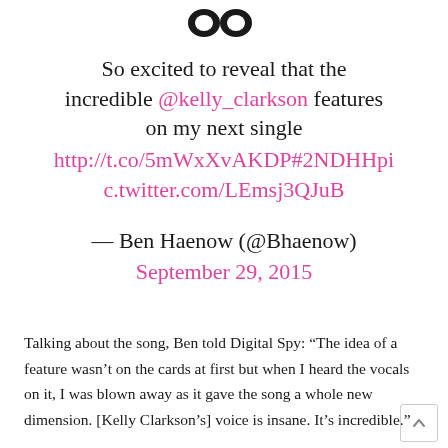[Figure (illustration): Two dark circular Twitter bird logo icons side by side at the top]
So excited to reveal that the incredible @kelly_clarkson features on my next single http://t.co/5mWxXvAKDP#2NDHHpic.twitter.com/LEmsj3QJuB
— Ben Haenow (@Bhaenow) September 29, 2015
Talking about the song, Ben told Digital Spy: “The idea of a feature wasn’t on the cards at first but when I heard the vocals on it, I was blown away as it gave the song a whole new dimension. [Kelly Clarkson’s] voice is insane. It’s incredible.”